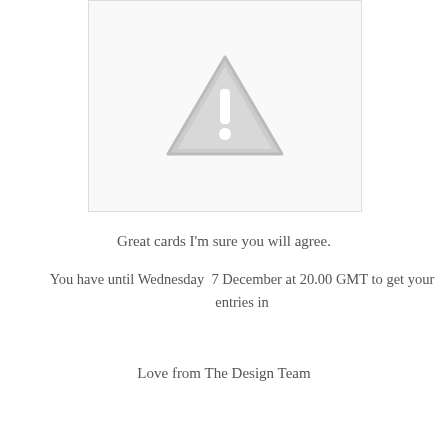[Figure (illustration): A warning triangle icon with an exclamation mark, light gray color, inside a white card area with a light border]
Great cards I'm sure you will agree.
You have until Wednesday  7 December at 20.00 GMT to get your entries in
Love from The Design Team